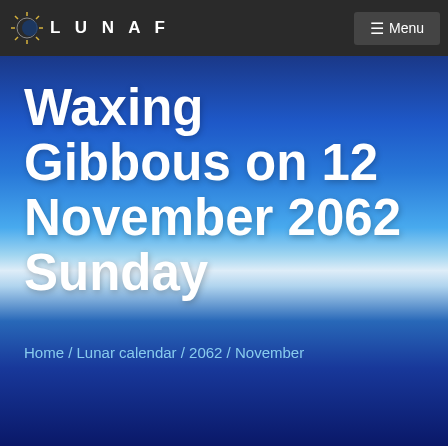LUNAF
Waxing Gibbous on 12 November 2062 Sunday
Home / Lunar calendar / 2062 / November